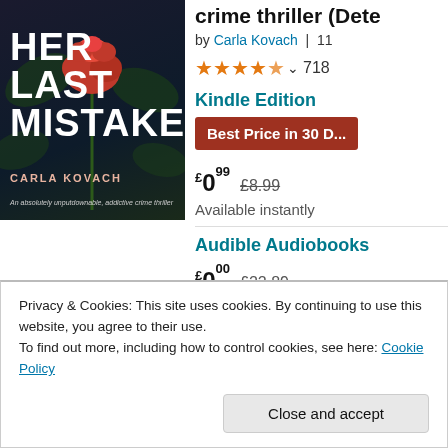[Figure (photo): Book cover of 'Her Last Mistake' by Carla Kovach — dark background with a red rose, bold white text]
crime thriller (Dete
by Carla Kovach | 11
★★★★☆ 718
Kindle Edition
Best Price in 30 D...
£0.99 £8.99
Available instantly
Audible Audiobooks
£0.00 £22.89
Free with Audible trial
Available instantly
Privacy & Cookies: This site uses cookies. By continuing to use this website, you agree to their use.
To find out more, including how to control cookies, see here: Cookie Policy
Close and accept